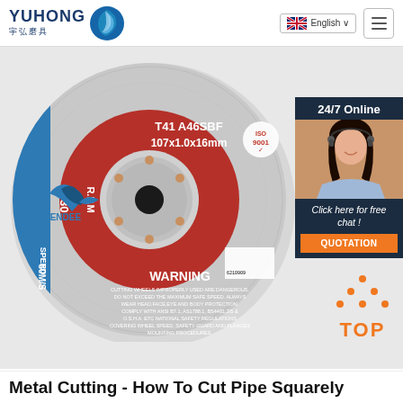YUHONG 宇弘磨具 — English navigation
[Figure (photo): A metal cutting disc (grinding wheel) branded KEENDEE, type T41 A46SBF, size 107x1.0x16mm, R.P.M 1530, Speed 80M/S, with WARNING text visible. Product shown at an angle against white background.]
[Figure (photo): Chat widget overlay showing 24/7 Online support with agent photo, 'Click here for free chat!' text, and QUOTATION button in orange.]
[Figure (illustration): TOP badge with orange dots arranged in triangle shape above the word TOP in orange.]
Metal Cutting - How To Cut Pipe Squarely